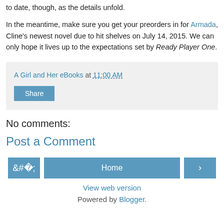to date, though, as the details unfold.
In the meantime, make sure you get your preorders in for Armada, Cline's newest novel due to hit shelves on July 14, 2015. We can only hope it lives up to the expectations set by Ready Player One.
A Girl and Her eBooks at 11:00 AM
Share
No comments:
Post a Comment
< Home >
View web version
Powered by Blogger.